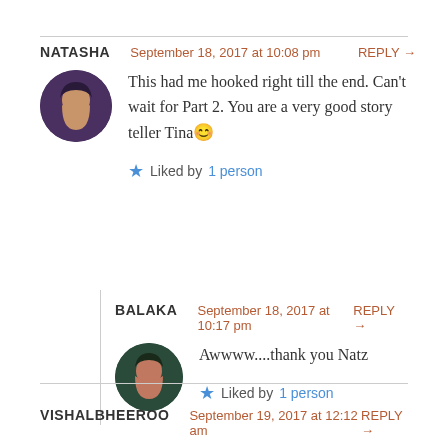NATASHA  September 18, 2017 at 10:08 pm  REPLY →
This had me hooked right till the end. Can't wait for Part 2. You are a very good story teller Tina 😊
★ Liked by 1 person
BALAKA  September 18, 2017 at 10:17 pm  REPLY →
Awwww....thank you Natz
★ Liked by 1 person
VISHALBHEEROO  September 19, 2017 at 12:12 am  REPLY →